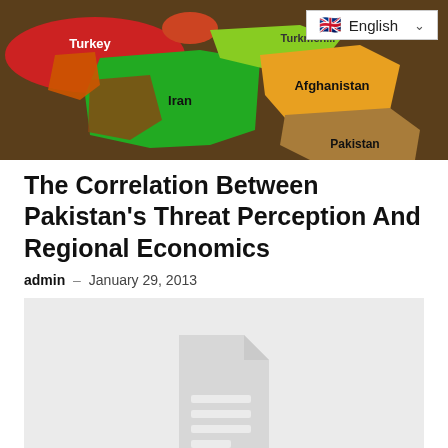[Figure (map): Colorful political map of the Middle East and Central Asia showing Turkey, Iran, Afghanistan, Pakistan, Turkmenistan and surrounding countries in different colors. An English language selector badge appears in the top right corner.]
The Correlation Between Pakistan’s Threat Perception And Regional Economics
admin – January 29, 2013
[Figure (other): Placeholder image with a generic document/file icon on a light gray background.]
Pak-Afghan Bilateral Trade To Reach $5 Billion By 2015